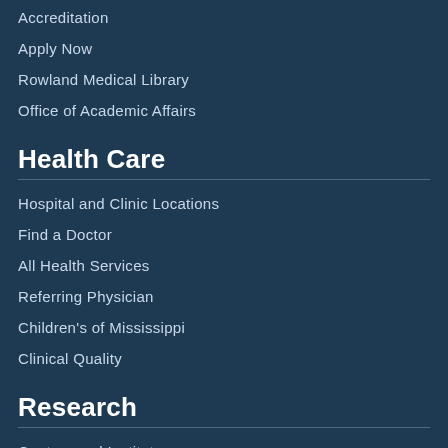Accreditation
Apply Now
Rowland Medical Library
Office of Academic Affairs
Health Care
Hospital and Clinic Locations
Find a Doctor
All Health Services
Referring Physician
Children's of Mississippi
Clinical Quality
Research
Centers and Institutes
Research Administration